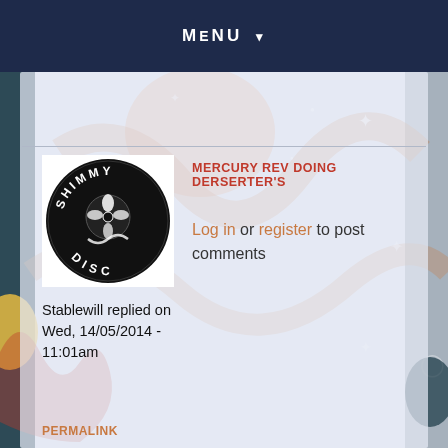MENU ▾
MERCURY REV DOING DERSERTER'S
Log in or register to post comments
[Figure (logo): Shimmy Disc circular logo — black circle with stylized text 'SHIMMY DISC' and a floral/snake illustration in the center, white on black]
Stablewill replied on Wed, 14/05/2014 - 11:01am
PERMALINK